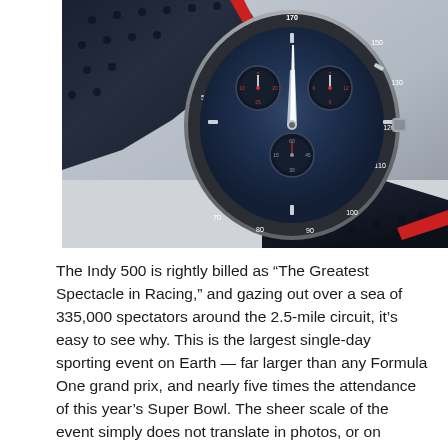[Figure (photo): Close-up photograph of a TAG Heuer racing chronograph watch with a dark blue dial, sub-dials, tachymeter bezel, and a black perforated leather racing strap with red accent. The watch face shows numbers around the bezel and the dial has red accents on the sub-dials.]
The Indy 500 is rightly billed as “The Greatest Spectacle in Racing,” and gazing out over a sea of 335,000 spectators around the 2.5-mile circuit, it’s easy to see why. This is the largest single-day sporting event on Earth — far larger than any Formula One grand prix, and nearly five times the attendance of this year’s Super Bowl. The sheer scale of the event simply does not translate in photos, or on television. Over the 200-lap race, average lap speeds at the front of the race exceeded 218 miles per hour, with 33 entrants screaming through the circuit’s four banked turns mere inches from one another.